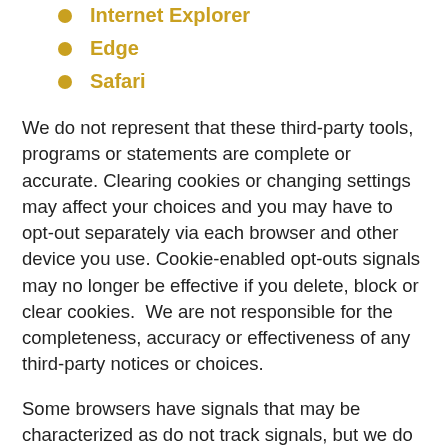Internet Explorer
Edge
Safari
We do not represent that these third-party tools, programs or statements are complete or accurate. Clearing cookies or changing settings may affect your choices and you may have to opt-out separately via each browser and other device you use. Cookie-enabled opt-outs signals may no longer be effective if you delete, block or clear cookies.  We are not responsible for the completeness, accuracy or effectiveness of any third-party notices or choices.
Some browsers have signals that may be characterized as do not track signals, but we do not understand them to operate in that manner or to indicate a do not sell expression by you so we currently do not recognize